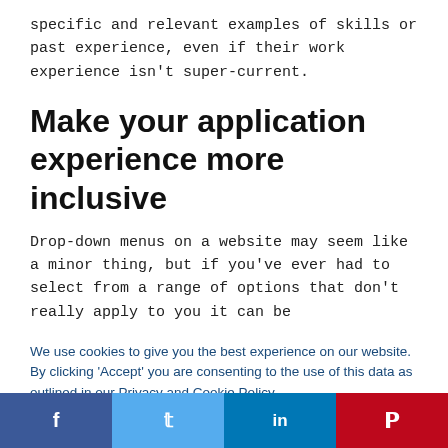specific and relevant examples of skills or past experience, even if their work experience isn't super-current.
Make your application experience more inclusive
Drop-down menus on a website may seem like a minor thing, but if you've ever had to select from a range of options that don't really apply to you it can be
We use cookies to give you the best experience on our website. By clicking 'Accept' you are consenting to the use of this data as outlined in our Privacy and Cookie Policy.
Accept